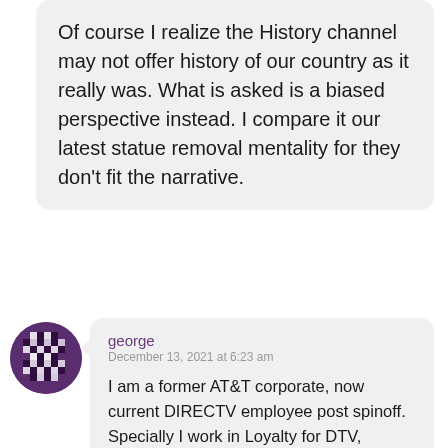Of course I realize the History channel may not offer history of our country as it really was. What is asked is a biased perspective instead. I compare it our latest statue removal mentality for they don't fit the narrative.
[Figure (illustration): Circular avatar with a dark purple/black and white geometric pixel pattern, used as a user profile picture.]
george
December 13, 2021 at 6:23 am

I am a former AT&T corporate, now current DIRECTV employee post spinoff. Specially I work in Loyalty for DTV, UVerse, Internet.